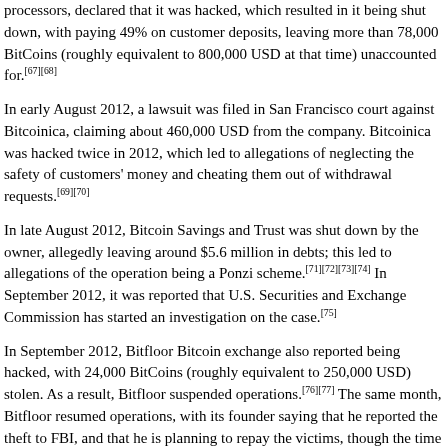processors, declared that it was hacked, which resulted in it being shut down, with paying 49% on customer deposits, leaving more than 78,000 BitCoins (roughly equivalent to 800,000 USD at that time) unaccounted for.[67][68]
In early August 2012, a lawsuit was filed in San Francisco court against Bitcoinica, claiming about 460,000 USD from the company. Bitcoinica was hacked twice in 2012, which led to allegations of neglecting the safety of customers' money and cheating them out of withdrawal requests.[69][70]
In late August 2012, Bitcoin Savings and Trust was shut down by the owner, allegedly leaving around $5.6 million in debts; this led to allegations of the operation being a Ponzi scheme.[71][72][73][74] In September 2012, it was reported that U.S. Securities and Exchange Commission has started an investigation on the case.[75]
In September 2012, Bitfloor Bitcoin exchange also reported being hacked, with 24,000 BitCoins (roughly equivalent to 250,000 USD) stolen. As a result, Bitfloor suspended operations.[76][77] The same month, Bitfloor resumed operations, with its founder saying that he reported the theft to FBI, and that he is planning to repay the victims, though the time frame for such repayment is unclear.[78]